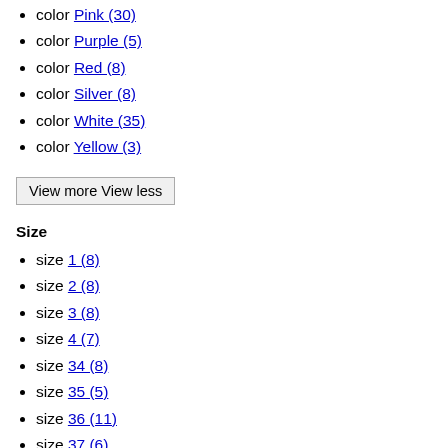color Pink (30)
color Purple (5)
color Red (8)
color Silver (8)
color White (35)
color Yellow (3)
View more View less
Size
size 1 (8)
size 2 (8)
size 3 (8)
size 4 (7)
size 34 (8)
size 35 (5)
size 36 (11)
size 37 (6)
size 38 (11)
size 39 (6)
size 40 (9)
size 41 (4)
size 42 (2)
size XXS (5)